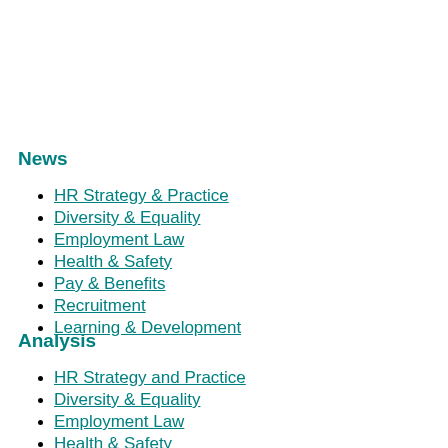News
HR Strategy & Practice
Diversity & Equality
Employment Law
Health & Safety
Pay & Benefits
Recruitment
Learning & Development
Analysis
HR Strategy and Practice
Diversity & Equality
Employment Law
Health & Safety
Pay & Benefits